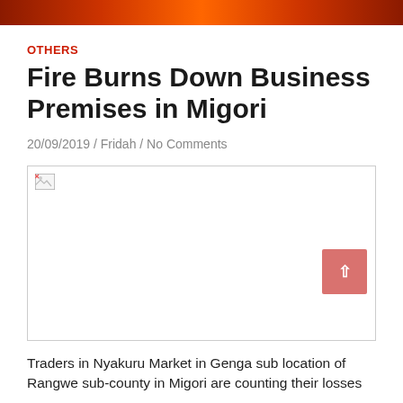OTHERS
Fire Burns Down Business Premises in Migori
20/09/2019 / Fridah / No Comments
[Figure (photo): Broken/missing image placeholder for article photo related to fire at Nyakuru Market in Migori]
Traders in Nyakuru Market in Genga sub location of Rangwe sub-county in Migori are counting their losses